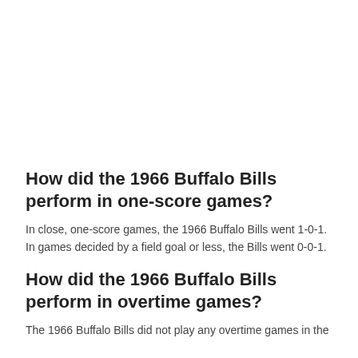How did the 1966 Buffalo Bills perform in one-score games?
In close, one-score games, the 1966 Buffalo Bills went 1-0-1. In games decided by a field goal or less, the Bills went 0-0-1.
How did the 1966 Buffalo Bills perform in overtime games?
The 1966 Buffalo Bills did not play any overtime games in the